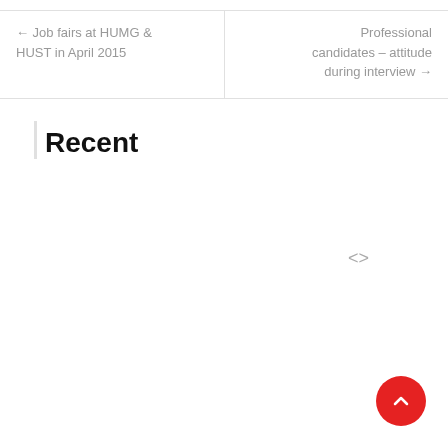← Job fairs at HUMG & HUST in April 2015
Professional candidates – attitude during interview →
Recent
[Figure (other): Code/embed icon symbol <>]
[Figure (other): Red circular scroll-to-top button with upward chevron arrow]